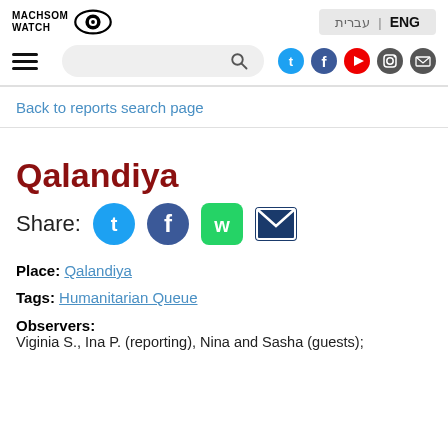MACHSOM WATCH | ENG
Back to reports search page
Qalandiya
Share:
Place: Qalandiya
Tags: Humanitarian Queue
Observers:
Viginia S., Ina P. (reporting), Nina and Sasha (guests);